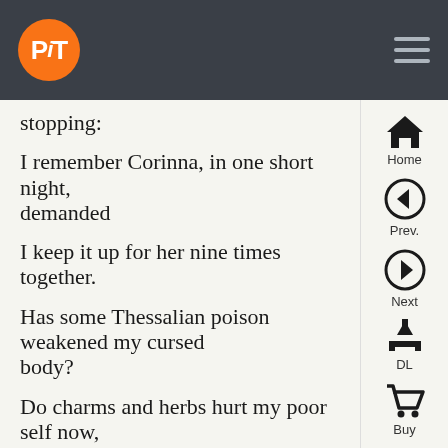PiT
stopping:

I remember Corinna, in one short night, demanded

I keep it up for her nine times together.

Has some Thessalian poison weakened my cursed body?

Do charms and herbs hurt my poor self now, some witch transfixes my name in scarlet wax and sticks fine needles right into my liver?

Charms turn the stricken wheat to barren grasses.